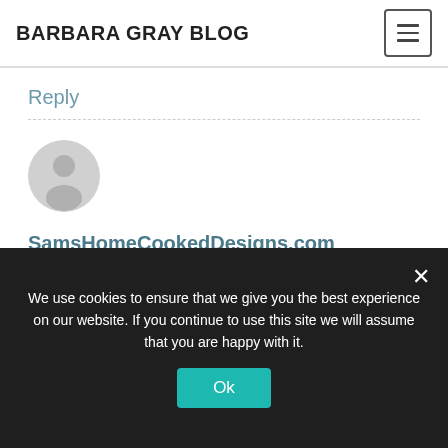BARBARA GRAY BLOG
Reply
[Figure (illustration): Default user avatar — grey circle with silhouette of a person]
SamsHomeCookedDesigns.com says:
19th April 2015 at 6:54 pm
I absolutely love Alice and the
We use cookies to ensure that we give you the best experience on our website. If you continue to use this site we will assume that you are happy with it.